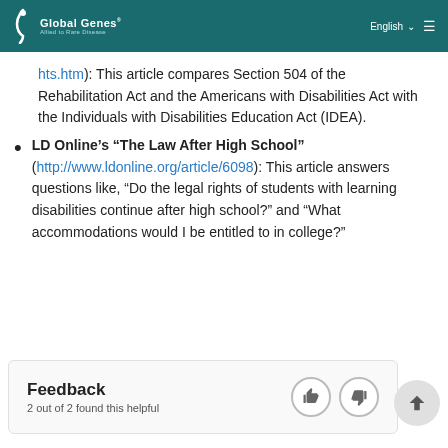Global Genes | Allied to Rare Disease | English
hts.htm): This article compares Section 504 of the Rehabilitation Act and the Americans with Disabilities Act with the Individuals with Disabilities Education Act (IDEA).
LD Online’s “The Law After High School” (http://www.ldonline.org/article/6098): This article answers questions like, “Do the legal rights of students with learning disabilities continue after high school?” and “What accommodations would I be entitled to in college?”
Feedback
2 out of 2 found this helpful